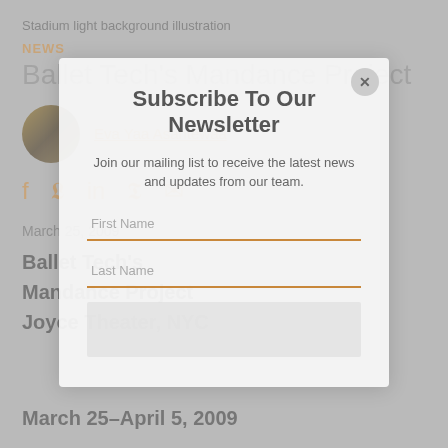Stadium light background illustration
NEWS
Ballet Tech's Mandance Project
Eva Yaa Asantewaa
March 25, 2009
Ballet Tech's
Mandance Project
Joyce Theater, NYC
March 25–April 5, 2009
Subscribe To Our Newsletter
Join our mailing list to receive the latest news and updates from our team.
First Name
Last Name